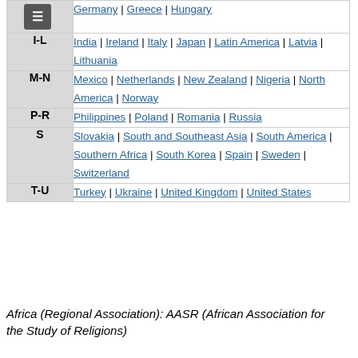| Letter | Countries/Regions |
| --- | --- |
| (menu) | Germany | Greece | Hungary |
| I-L | India | Ireland | Italy | Japan | Latin America | Latvia | Lithuania |
| M-N | Mexico | Netherlands | New Zealand | Nigeria | North America | Norway |
| P-R | Philippines | Poland | Romania | Russia |
| S | Slovakia | South and Southeast Asia | South America | Southern Africa | South Korea | Spain | Sweden | Switzerland |
| T-U | Turkey | Ukraine | United Kingdom | United States |
Africa (Regional Association): AASR (African Association for the Study of Religions)